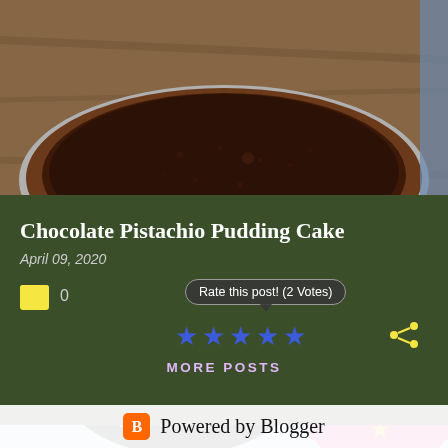[Figure (photo): Top-down photo of a chocolate cake in a round pan on a wooden surface]
Chocolate Pistachio Pudding Cake
April 09, 2020
0
Rate this post! (2 Votes)
[Figure (illustration): Animated character illustration with yellow star decorations and swirling black shapes, pink clothing]
MORE POSTS
Powered by Blogger